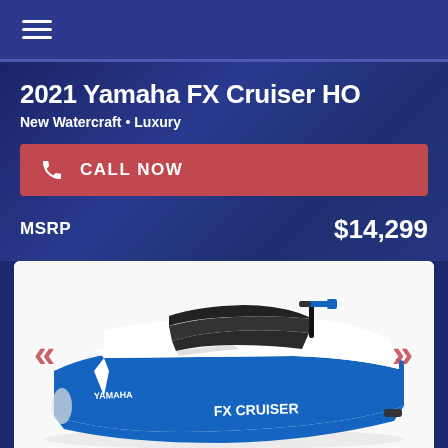☰
2021 Yamaha FX Cruiser HO
New Watercraft • Luxury
CALL NOW
MSRP $14,299
[Figure (photo): 2021 Yamaha FX Cruiser HO personal watercraft / jet ski in blue and white, shown from rear-left angle with two seats visible, blue handlebars, and Yamaha branding on hull.]